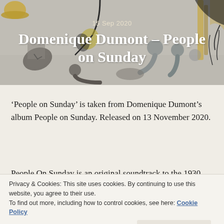[Figure (illustration): Illustrated header banner in muted grey and gold tones showing various people and objects: a person in a hat, people sitting/lying down, a clock, plant branches, and abstract figures against a light grey background.]
Domenique Dumont – People on Sunday
15 Sep 2020
‘People on Sunday’ is taken from Domenique Dumont’s album People on Sunday. Released on 13 November 2020.
People On Sunday is an original soundtrack to the 1930
Privacy & Cookies: This site uses cookies. By continuing to use this website, you agree to their use.
To find out more, including how to control cookies, see here: Cookie Policy
Part documentary, part fiction, People On Sunday